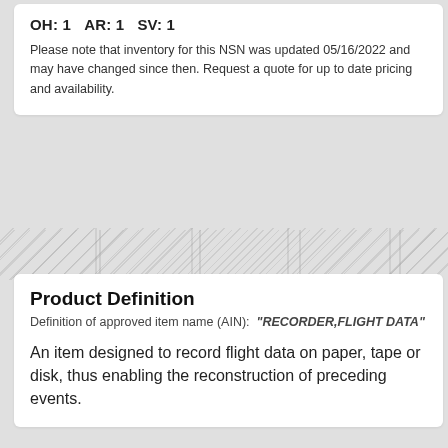OH: 1   AR: 1   SV: 1
Please note that inventory for this NSN was updated 05/16/2022 and may have changed since then. Request a quote for up to date pricing and availability.
Product Definition
Definition of approved item name (AIN): "RECORDER,FLIGHT DATA"
An item designed to record flight data on paper, tape or disk, thus enabling the reconstruction of preceding events.
6610-01-582-4232 Spec.
NSN part characteristics
MRC: AGAV
End Application